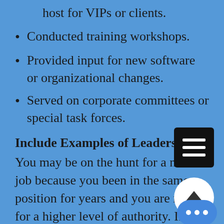host for VIPs or clients.
Conducted training workshops.
Provided input for new software or organizational changes.
Served on corporate committees or special task forces.
Include Examples of Leadership
You may be on the hunt for a new job because you been in the same position for years and you are ready for a higher level of authority. If this is the case, proving that you have experience leading people, managing